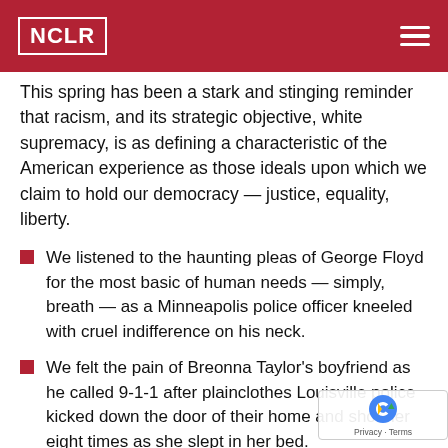NCLR
This spring has been a stark and stinging reminder that racism, and its strategic objective, white supremacy, is as defining a characteristic of the American experience as those ideals upon which we claim to hold our democracy — justice, equality, liberty.
We listened to the haunting pleas of George Floyd for the most basic of human needs — simply, breath — as a Minneapolis police officer kneeled with cruel indifference on his neck.
We felt the pain of Breonna Taylor's boyfriend as he called 9-1-1 after plainclothes Louisville police kicked down the door of their home and shot her eight times as she slept in her bed.
We watched the shooting death of Ahmaud Arbery by